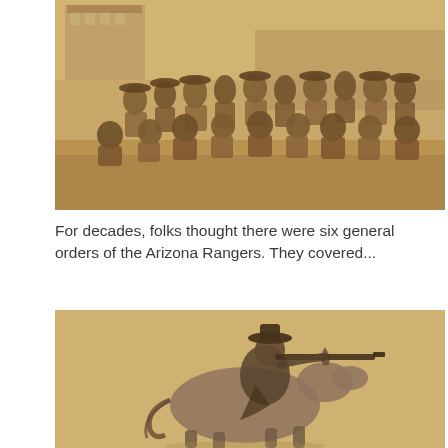[Figure (photo): Sepia-toned historical photograph of a large group of men, likely Arizona Rangers or a similar frontier-era group, posed together outdoors in front of a wooden building. Men are seated and standing in rows.]
For decades, folks thought there were six general orders of the Arizona Rangers. They covered...
[Figure (illustration): Black and white illustration on a tan/parchment background depicting a cowboy on horseback aiming a rifle. The rider wears a wide-brim hat and appears to be in motion.]